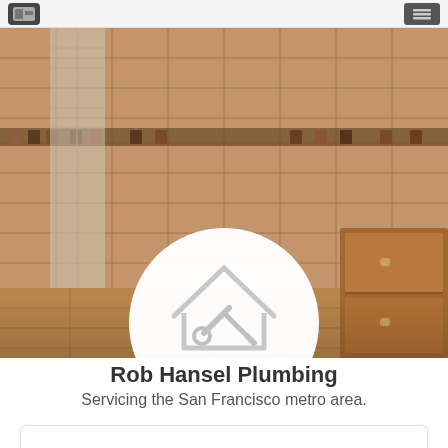[Figure (photo): Banner photo of a tiled bathroom/shower interior with warm brown stone tiles, glass block column, and wooden cabinetry. In the center is a circular white logo placeholder with a house and wrench/tools icon and the word LOGO.]
Rob Hansel Plumbing
Servicing the San Francisco metro area.